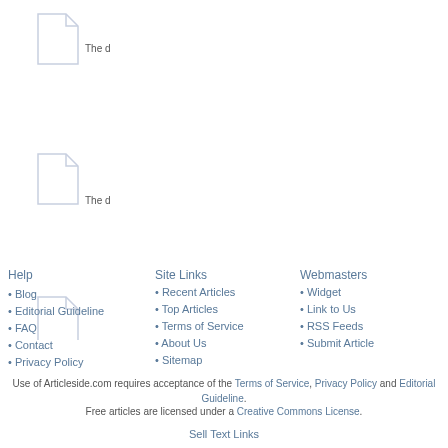[Figure (illustration): Three document/file icons arranged vertically on the right side of the page, each with a page-curl corner, rendered in light gray/lavender outline style]
The d
The d
Help
Blog
Editorial Guideline
FAQ
Contact
Privacy Policy
Site Links
Recent Articles
Top Articles
Terms of Service
About Us
Sitemap
Webmasters
Widget
Link to Us
RSS Feeds
Submit Article
Use of Articleside.com requires acceptance of the Terms of Service, Privacy Policy and Editorial Guideline.
Free articles are licensed under a Creative Commons License.
Sell Text Links